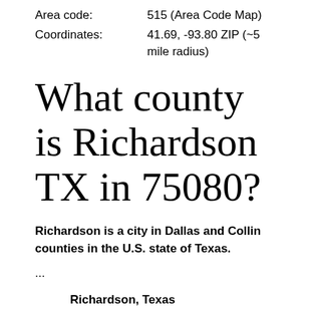Area code: 515 (Area Code Map)
Coordinates: 41.69, -93.80 ZIP (~5 mile radius)
What county is Richardson TX in 75080?
Richardson is a city in Dallas and Collin counties in the U.S. state of Texas.
...
Richardson, Texas